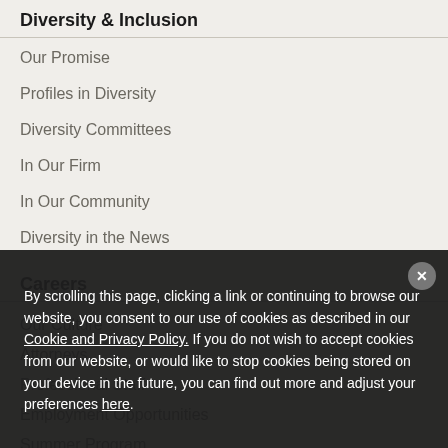Diversity & Inclusion
Our Promise
Profiles in Diversity
Diversity Committees
In Our Firm
In Our Community
Diversity in the News
Careers
Our Culture
Attorneys
Professional Staff
Employment Opportunities
Summer Program
Equal Opportunity Policy
Our Approach to Applications
Offices
By scrolling this page, clicking a link or continuing to browse our website, you consent to our use of cookies as described in our Cookie and Privacy Policy. If you do not wish to accept cookies from our website, or would like to stop cookies being stored on your device in the future, you can find out more and adjust your preferences here.